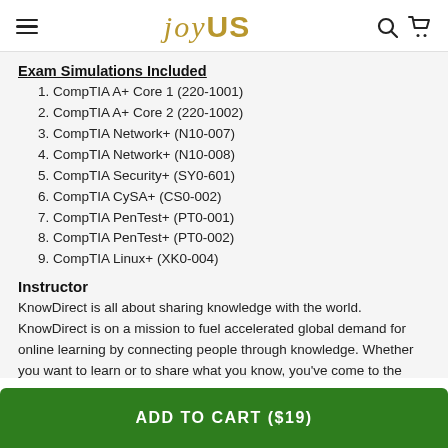JOYUS
Exam Simulations Included
1. CompTIA A+ Core 1 (220-1001)
2. CompTIA A+ Core 2 (220-1002)
3. CompTIA Network+ (N10-007)
4. CompTIA Network+ (N10-008)
5. CompTIA Security+ (SY0-601)
6. CompTIA CySA+ (CS0-002)
7. CompTIA PenTest+ (PT0-001)
8. CompTIA PenTest+ (PT0-002)
9. CompTIA Linux+ (XK0-004)
Instructor
KnowDirect is all about sharing knowledge with the world. KnowDirect is on a mission to fuel accelerated global demand for online learning by connecting people through knowledge. Whether you want to learn or to share what you know, you've come to the right place. KnowDirect's global community and exam simulator
ADD TO CART ($19)